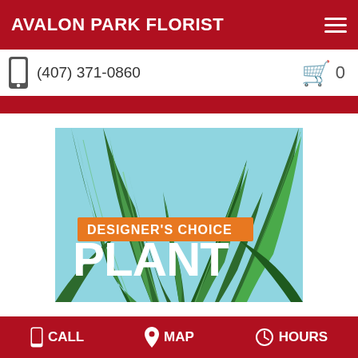AVALON PARK FLORIST
(407) 371-0860
[Figure (photo): Designer's Choice PLANT — close-up photo of a green dracaena plant with light green striped leaves against a light blue background. Orange banner reads DESIGNER'S CHOICE with large white text PLANT below.]
CALL  MAP  HOURS